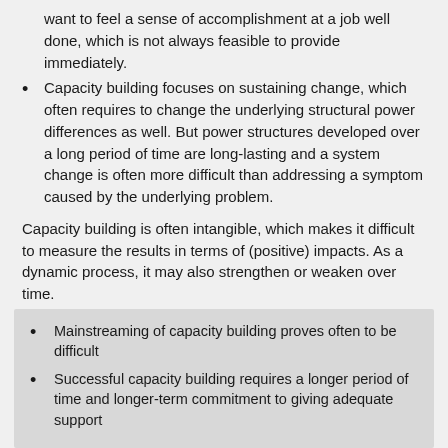want to feel a sense of accomplishment at a job well done, which is not always feasible to provide immediately.
Capacity building focuses on sustaining change, which often requires to change the underlying structural power differences as well. But power structures developed over a long period of time are long-lasting and a system change is often more difficult than addressing a symptom caused by the underlying problem.
Capacity building is often intangible, which makes it difficult to measure the results in terms of (positive) impacts. As a dynamic process, it may also strengthen or weaken over time.
Mainstreaming of capacity building proves often to be difficult
Successful capacity building requires a longer period of time and longer-term commitment to giving adequate support